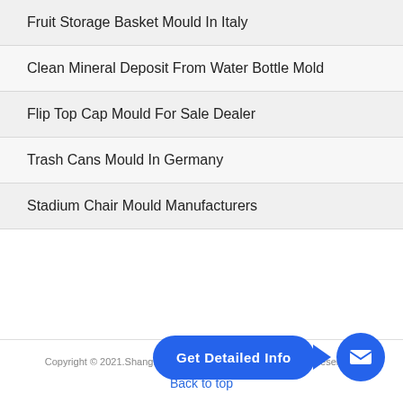Fruit Storage Basket Mould In Italy
Clean Mineral Deposit From Water Bottle Mold
Flip Top Cap Mould For Sale Dealer
Trash Cans Mould In Germany
Stadium Chair Mould Manufacturers
[Figure (infographic): Blue rounded button with text 'Get Detailed Info' and arrow pointing to a blue circle with envelope/mail icon]
Copyright © 2021.Shanghai GonSon Tech Co.,Ltd. All Rights Reserved.
Back to top